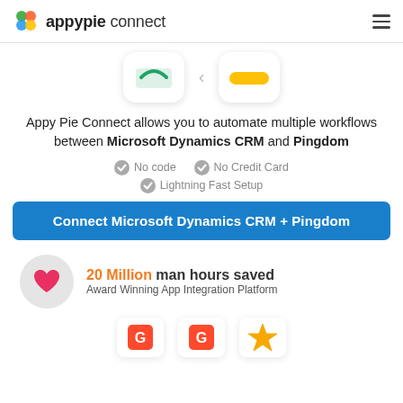appypie connect
[Figure (illustration): Two app icon boxes with a connector dot between them, showing Microsoft Dynamics CRM icon and Pingdom icon]
Appy Pie Connect allows you to automate multiple workflows between Microsoft Dynamics CRM and Pingdom
No code
No Credit Card
Lightning Fast Setup
Connect Microsoft Dynamics CRM + Pingdom
[Figure (illustration): Heart icon in a gray circle representing 20 Million man hours saved, Award Winning App Integration Platform]
20 Million man hours saved
Award Winning App Integration Platform
[Figure (illustration): Bottom row of award/review badge icons with G2 logos and a star rating badge]